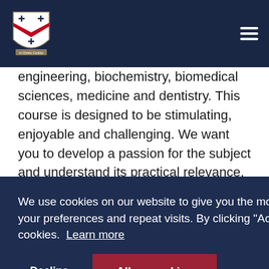Navigation bar with shield logo and hamburger menu
engineering, biochemistry, biomedical sciences, medicine and dentistry. This course is designed to be stimulating, enjoyable and challenging. We want you to develop a passion for the subject and understand its practical relevance, as well as learn from the experiences of those already in the industry.
We use cookies on our website to give you the most relevant experience by remembering your preferences and repeat visits. By clicking “Accept”, you consent to the use of all cookies. Learn more
Decline  Allow cookies